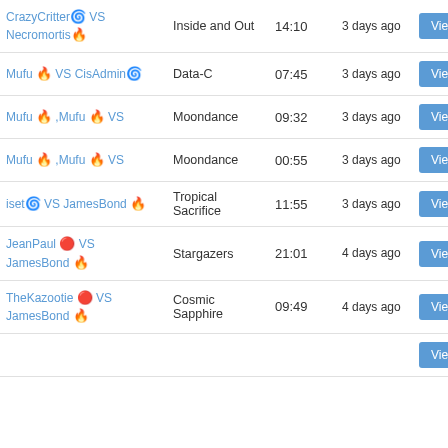| Players | Map | Time | Age | View | Download |
| --- | --- | --- | --- | --- | --- |
| CrazyCritter 🌀 VS Necromortis 🔥 | Inside and Out | 14:10 | 3 days ago | View | Download |
| Mufu 🔥 VS CisAdmin 🌀 | Data-C | 07:45 | 3 days ago | View | Download |
| Mufu 🔥 ,Mufu 🔥 VS | Moondance | 09:32 | 3 days ago | View | Download |
| Mufu 🔥 ,Mufu 🔥 VS | Moondance | 00:55 | 3 days ago | View | Download |
| iset 🌀 VS JamesBond 🔥 | Tropical Sacrifice | 11:55 | 3 days ago | View | Download |
| JeanPaul 🔴 VS JamesBond 🔥 | Stargazers | 21:01 | 4 days ago | View | Download |
| TheKazootie 🔴 VS JamesBond 🔥 | Cosmic Sapphire | 09:49 | 4 days ago | View | Download |